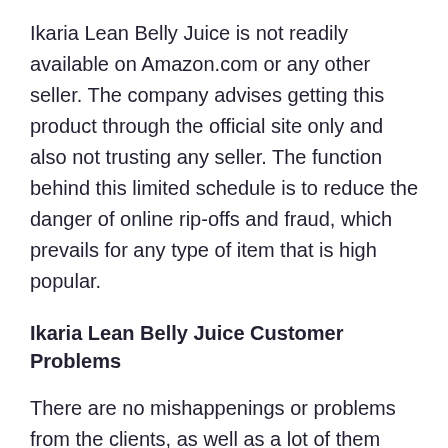Ikaria Lean Belly Juice is not readily available on Amazon.com or any other seller. The company advises getting this product through the official site only and also not trusting any seller. The function behind this limited schedule is to reduce the danger of online rip-offs and fraud, which prevails for any type of item that is high popular.
Ikaria Lean Belly Juice Customer Problems
There are no mishappenings or problems from the clients, as well as a lot of them appear delighted with their experiences. These customer reviews are readily available on the main internet site and also can be inspected prior to validating the orders. If you are experiencing any difficulty or